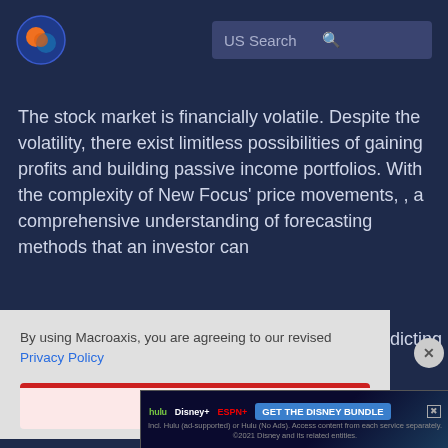[Figure (logo): Macroaxis logo: orange and blue circular icon]
US Search
The stock market is financially volatile. Despite the volatility, there exist limitless possibilities of gaining profits and building passive income portfolios. With the complexity of New Focus' price movements, , a comprehensive understanding of forecasting methods that an investor can
By using Macroaxis, you are agreeing to our revised Privacy Policy
OK
[Figure (infographic): Hulu Disney+ ESPN+ GET THE DISNEY BUNDLE advertisement banner. Incl. Hulu (ad-supported) or Hulu (No Ads). Access content from each service separately. ©2021 Disney and its related entities.]
Math Operators